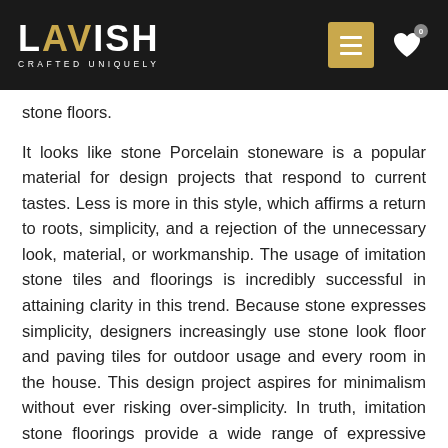LAVISH CRAFTED UNIQUELY
stone floors.
It looks like stone Porcelain stoneware is a popular material for design projects that respond to current tastes. Less is more in this style, which affirms a return to roots, simplicity, and a rejection of the unnecessary look, material, or workmanship. The usage of imitation stone tiles and floorings is incredibly successful in attaining clarity in this trend. Because stone expresses simplicity, designers increasingly use stone look floor and paving tiles for outdoor usage and every room in the house. This design project aspires for minimalism without ever risking over-simplicity. In truth, imitation stone floorings provide a wide range of expressive possibilities.
#2 Color
The color of the imitation stone floor covering that is most suited to the style and needs of the interiors is an essential factor to consider. Grey shades, for example, are among the